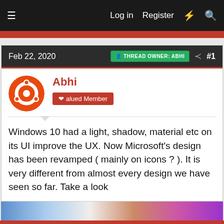Log in   Register
Feb 22, 2020   THREAD OWNER: ABHI   #1
Abhi
Valued Member
Windows 10 had a light, shadow, material etc on its UI improve the UX. Now Microsoft's design has been revamped ( mainly on icons ? ). It is very different from almost every design we have seen so far. Take a look
This site uses cookies to help personalise content, tailor your experience and to keep you logged in if you register.
By continuing to use this site, you are consenting to our use of cookies.
Accept   Learn more...